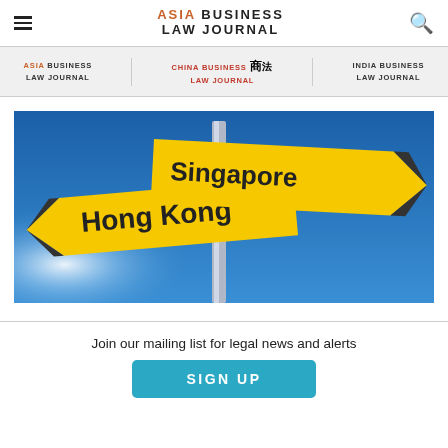Asia Business Law Journal
[Figure (logo): Asia Business Law Journal logo with hamburger menu and search icon in header]
[Figure (screenshot): Navigation bar with three publication links: Asia Business Law Journal, China Business Law Journal (with Chinese characters), India Business Law Journal]
[Figure (photo): Photo of two yellow directional street signs on a pole against a blue sky. Left sign points to Hong Kong, right sign points to Singapore.]
Join our mailing list for legal news and alerts
SIGN UP